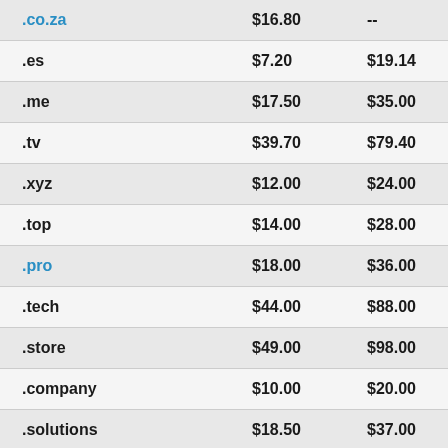| Domain | Price | Renew |
| --- | --- | --- |
| .co.za | $16.80 | -- |
| .es | $7.20 | $19.14 |
| .me | $17.50 | $35.00 |
| .tv | $39.70 | $79.40 |
| .xyz | $12.00 | $24.00 |
| .top | $14.00 | $28.00 |
| .pro | $18.00 | $36.00 |
| .tech | $44.00 | $88.00 |
| .store | $49.00 | $98.00 |
| .company | $10.00 | $20.00 |
| .solutions | $18.50 | $37.00 |